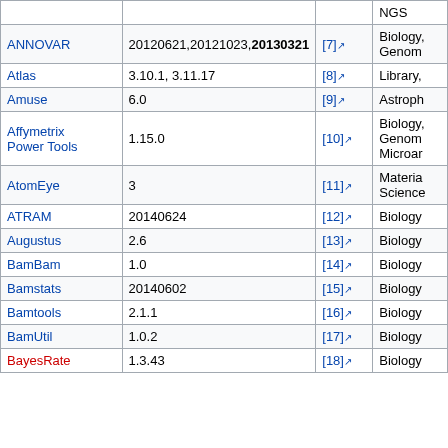| Name | Version | Ref | Category |
| --- | --- | --- | --- |
|  |  |  | NGS |
| ANNOVAR | 20120621,20121023,20130321 | [7] | Biology, Genomics |
| Atlas | 3.10.1, 3.11.17 | [8] | Library, |
| Amuse | 6.0 | [9] | Astrophysics |
| Affymetrix Power Tools | 1.15.0 | [10] | Biology, Genomics, Microarrays |
| AtomEye | 3 | [11] | Materials Science |
| ATRAM | 20140624 | [12] | Biology |
| Augustus | 2.6 | [13] | Biology |
| BamBam | 1.0 | [14] | Biology |
| Bamstats | 20140602 | [15] | Biology |
| Bamtools | 2.1.1 | [16] | Biology |
| BamUtil | 1.0.2 | [17] | Biology |
| BayesRate | 1.3.43 | [18] | Biology |